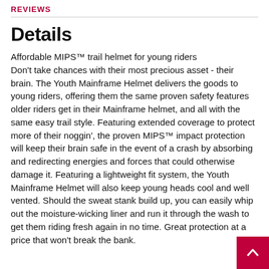REVIEWS
Details
Affordable MIPS™ trail helmet for young riders Don't take chances with their most precious asset - their brain. The Youth Mainframe Helmet delivers the goods to young riders, offering them the same proven safety features older riders get in their Mainframe helmet, and all with the same easy trail style. Featuring extended coverage to protect more of their noggin', the proven MIPS™ impact protection will keep their brain safe in the event of a crash by absorbing and redirecting energies and forces that could otherwise damage it. Featuring a lightweight fit system, the Youth Mainframe Helmet will also keep young heads cool and well vented. Should the sweat stank build up, you can easily whip out the moisture-wicking liner and run it through the wash to get them riding fresh again in no time. Great protection at a price that won't break the bank.